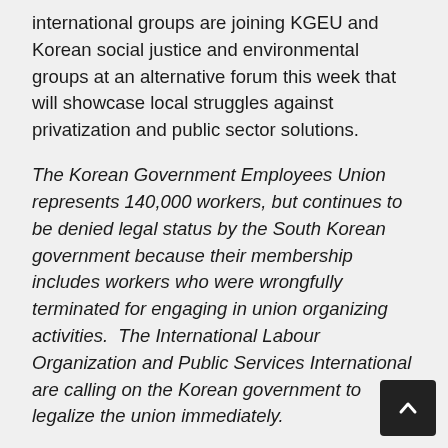international groups are joining KGEU and Korean social justice and environmental groups at an alternative forum this week that will showcase local struggles against privatization and public sector solutions.
The Korean Government Employees Union represents 140,000 workers, but continues to be denied legal status by the South Korean government because their membership includes workers who were wrongfully terminated for engaging in union organizing activities. The International Labour Organization and Public Services International are calling on the Korean government to legalize the union immediately.
HERE ARE A FEW WAYS TO VIRTUALLY JOIN THE PROTEST AGAINST VEOLIA AND THE WORLD WATER FORUM: